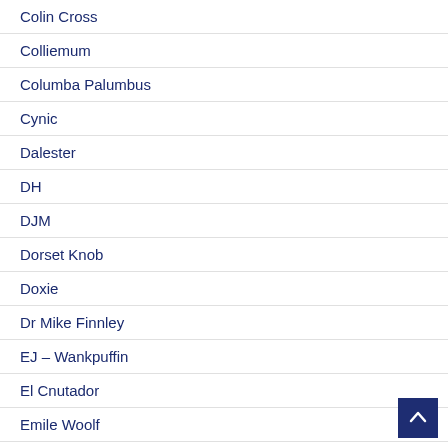Colin Cross
Colliemum
Columba Palumbus
Cynic
Dalester
DH
DJM
Dorset Knob
Doxie
Dr Mike Finnley
EJ – Wankpuffin
El Cnutador
Emile Woolf
Eraser of Love